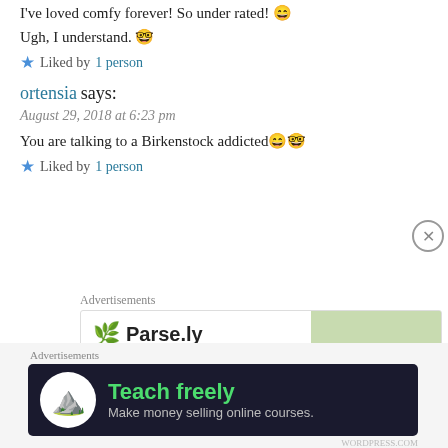I've loved comfy forever! So under rated! 😄
Ugh, I understand. 🤓
★ Liked by 1 person
ortensia says:
August 29, 2018 at 6:23 pm
You are talking to a Birkenstock addicted 😄🤓
★ Liked by 1 person
Advertisements
[Figure (screenshot): Parse.ly advertisement banner with logo and analytics chart screenshot]
Advertisements
[Figure (infographic): Dark banner ad: Teach freely - Make money selling online courses.]